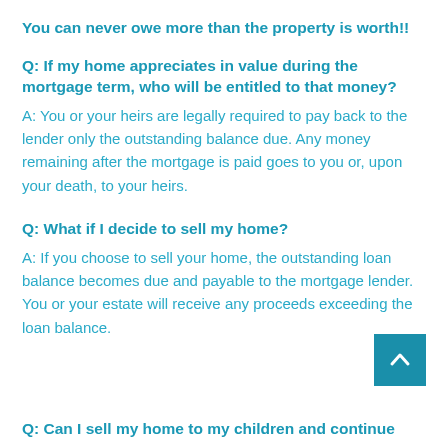You can never owe more than the property is worth!!
Q: If my home appreciates in value during the mortgage term, who will be entitled to that money?
A: You or your heirs are legally required to pay back to the lender only the outstanding balance due. Any money remaining after the mortgage is paid goes to you or, upon your death, to your heirs.
Q: What if I decide to sell my home?
A: If you choose to sell your home, the outstanding loan balance becomes due and payable to the mortgage lender. You or your estate will receive any proceeds exceeding the loan balance.
Q:  Can I sell my home to my children and continue